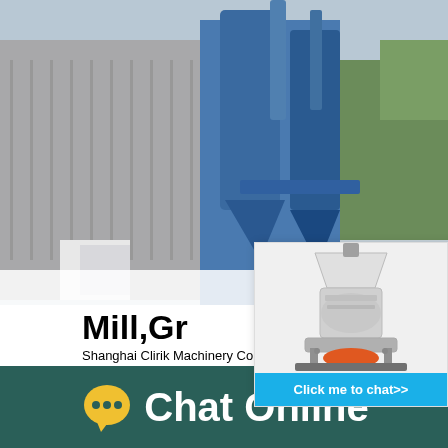[Figure (photo): Industrial machinery/plant facility photo with blue silos and pipes in background]
[Figure (infographic): Live Chat popup overlay with workers in yellow hard hats, red LIVE CHAT text, 'Click for a Free Consultation', Chat now and Chat later buttons]
[Figure (photo): Cone crusher machine widget on right side with 'Click me to chat>>' blue button]
Mill,Gr
Shanghai Clirik Machinery Co., Ltd, located in New Area of Shanghai, China, is a large manufacturer with import export rights specializing in research, manufacture and sales of crushing
Chat Online